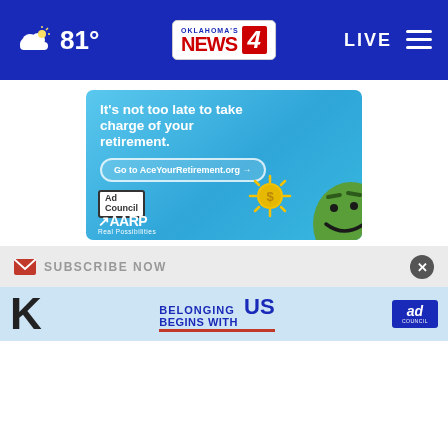81° Oklahoma's News 4 LIVE
[Figure (infographic): AARP / Ad Council advertisement: 'It's not too late to take charge of your retirement. Go to AceYourRetirement.org'. Features Ad Council logo, AARP logo with tagline 'Real Possibilities', a sun with dollar sign coin, and a green cartoon face character.]
SUBSCRIBE NOW
[Figure (infographic): Ad Council 'Belonging Begins With US' advertisement banner at bottom of page, with small Ad Council logo box on right.]